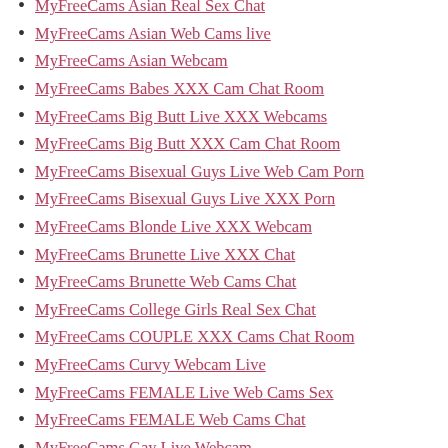MyFreeCams Asian Real Sex Chat
MyFreeCams Asian Web Cams live
MyFreeCams Asian Webcam
MyFreeCams Babes XXX Cam Chat Room
MyFreeCams Big Butt Live XXX Webcams
MyFreeCams Big Butt XXX Cam Chat Room
MyFreeCams Bisexual Guys Live Web Cam Porn
MyFreeCams Bisexual Guys Live XXX Porn
MyFreeCams Blonde Live XXX Webcam
MyFreeCams Brunette Live XXX Chat
MyFreeCams Brunette Web Cams Chat
MyFreeCams College Girls Real Sex Chat
MyFreeCams COUPLE XXX Cams Chat Room
MyFreeCams Curvy Webcam Live
MyFreeCams FEMALE Live Web Cams Sex
MyFreeCams FEMALE Web Cams Chat
MyFreeCams Gay Live Webcam
MyFreeCams Granny Live XXX Webcams
MyFreeCams Granny Real Sex Webcam
MyFreeCams Granny XXX Cam Chat Room
MyFreeCams Group Sex Real Sex Chat
MyFreeCams Group Sex XXX Live Videos
MyFreeCams Huge Tits XXX Cam Chat Room
MyFreeCams Lesbian Live XXX Webcam
MyFreeCams Lesbian XXX Cam Chat Room
MyFreeCams Mature XXX Live Videos